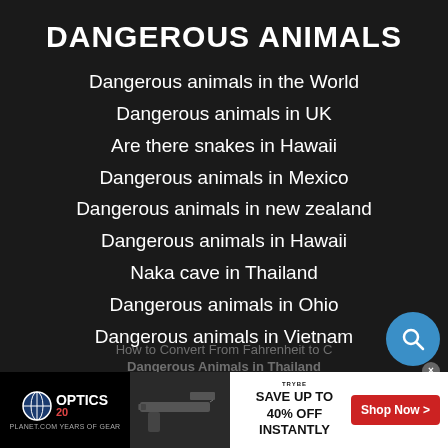DANGEROUS ANIMALS
Dangerous animals in the World
Dangerous animals in UK
Are there snakes in Hawaii
Dangerous animals in Mexico
Dangerous animals in new zealand
Dangerous animals in Hawaii
Naka cave in Thailand
Dangerous animals in Ohio
Dangerous animals in Vietnam
How to Convert From Fahrenheit to C
Dangerous Animals in Thailand
[Figure (screenshot): Advertisement banner for OpticsPlanet 20 Years of Gear with a gun image and TRYBe logo, Save up to 40% off instantly, Shop Now button]